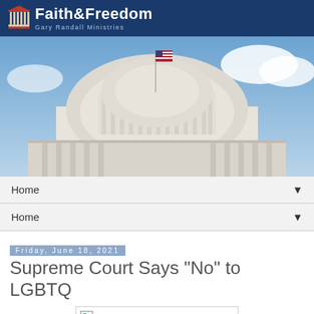[Figure (logo): Faith & Freedom - Gary Randall Ministries logo with pillar icon on dark blue background]
[Figure (photo): Photo of the US Capitol building dome with American flag, blue sky with clouds]
Home
Home
Friday, June 18, 2021
Supreme Court Says "No" to LGBTQ
[Figure (photo): Image placeholder (broken image icon)]